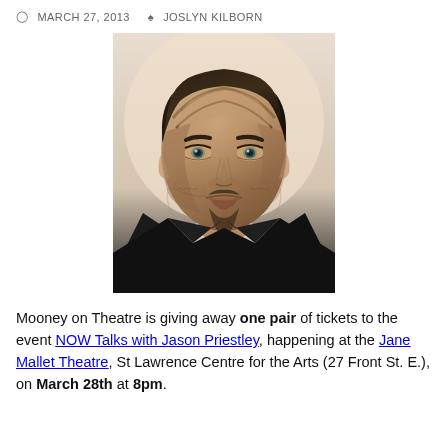MARCH 27, 2013   JOSLYN KILBORN
[Figure (photo): Black and white headshot portrait of Jason Priestley, a man with dark hair and a goatee, wearing a dark jacket, looking directly at camera with a serious expression.]
Mooney on Theatre is giving away one pair of tickets to the event NOW Talks with Jason Priestley, happening at the Jane Mallet Theatre, St Lawrence Centre for the Arts (27 Front St. E.), on March 28th at 8pm.